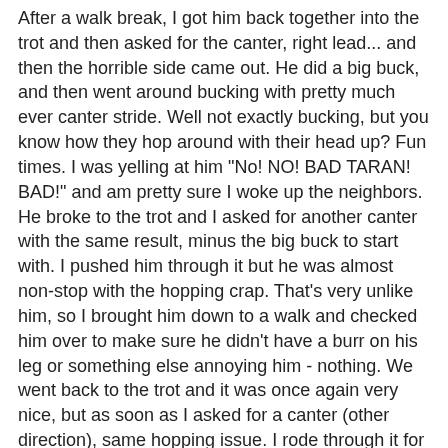After a walk break, I got him back together into the trot and then asked for the canter, right lead... and then the horrible side came out. He did a big buck, and then went around bucking with pretty much ever canter stride. Well not exactly bucking, but you know how they hop around with their head up? Fun times. I was yelling at him "No! NO! BAD TARAN! BAD!" and am pretty sure I woke up the neighbors. He broke to the trot and I asked for another canter with the same result, minus the big buck to start with. I pushed him through it but he was almost non-stop with the hopping crap. That's very unlike him, so I brought him down to a walk and checked him over to make sure he didn't have a burr on his leg or something else annoying him - nothing. We went back to the trot and it was once again very nice, but as soon as I asked for a canter (other direction), same hopping issue. I rode through it for half a circle, then decided I didn't want to get dumped in the dirt and went back to a trot. We finished with some so-so trot work and then called it a day.
I checked him over back home and he was fine, so I'm at a loss as to what caused the canter issue. I even took him out last night to longe him (saddle-free) and he was pretty good.